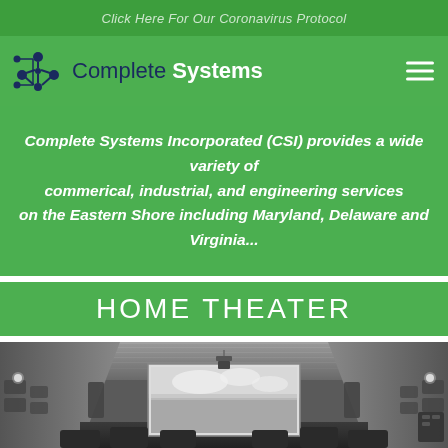Click Here For Our Coronavirus Protocol
[Figure (logo): Complete Systems logo with network node icon and text 'Complete Systems']
Complete Systems Incorporated (CSI) provides a wide variety of commerical, industrial, and engineering services on the Eastern Shore including Maryland, Delaware and Virginia...
HOME THEATER
[Figure (photo): Grayscale photo of a home theater interior showing ceiling-mounted projector, projection screen displaying a landscape, wall speakers, acoustic panels, and theater seating in the foreground]